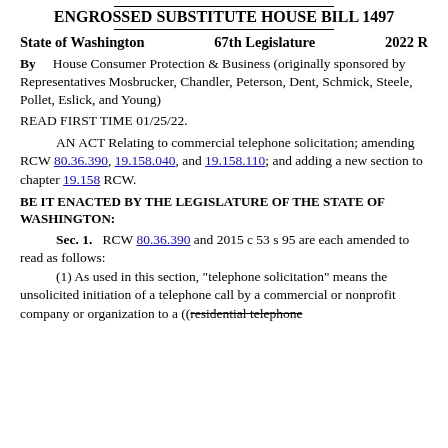ENGROSSED SUBSTITUTE HOUSE BILL 1497
State of Washington   67th Legislature   2022 R
By   House Consumer Protection & Business (originally sponsored by Representatives Mosbrucker, Chandler, Peterson, Dent, Schmick, Steele, Pollet, Eslick, and Young)
READ FIRST TIME 01/25/22.
AN ACT Relating to commercial telephone solicitation; amending RCW 80.36.390, 19.158.040, and 19.158.110; and adding a new section to chapter 19.158 RCW.
BE IT ENACTED BY THE LEGISLATURE OF THE STATE OF WASHINGTON:
Sec. 1.   RCW 80.36.390 and 2015 c 53 s 95 are each amended to read as follows:
(1) As used in this section, "telephone solicitation" means the unsolicited initiation of a telephone call by a commercial or nonprofit company or organization to a ((residential telephone